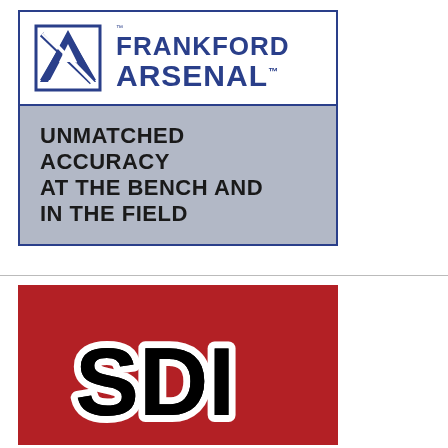[Figure (logo): Frankford Arsenal logo with blue shield-style 'A' icon and text reading FRANKFORD ARSENAL in bold blue letters with trademark symbols]
[Figure (infographic): Gray banner with background image of a workbench/reloading area. Text reads: UNMATCHED ACCURACY AT THE BENCH AND IN THE FIELD in large bold black uppercase letters]
[Figure (logo): SDI logo in bold athletic block letters with white outline on red background]